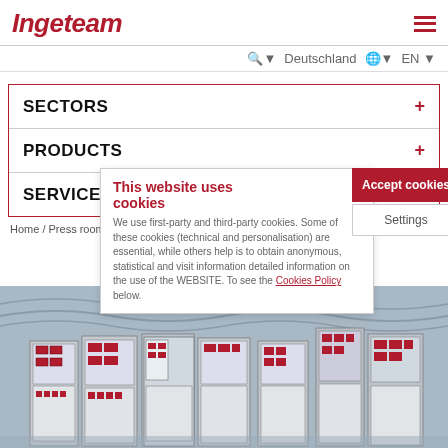Ingeteam
Deutschland | EN
SECTORS +
PRODUCTS +
SERVICES +
This website uses cookies
We use first-party and third-party cookies. Some of these cookies (technical and personalisation) are essential, while others help is to obtain anonymous, statistical and visit information detailed information on the use of the WEBSITE. To see the Cookies Policy below.
Accept cookies
Settings
Home / Press room / Public categories
[Figure (photo): Industrial electrical control panel cabinets inside a large building with arched ceiling]